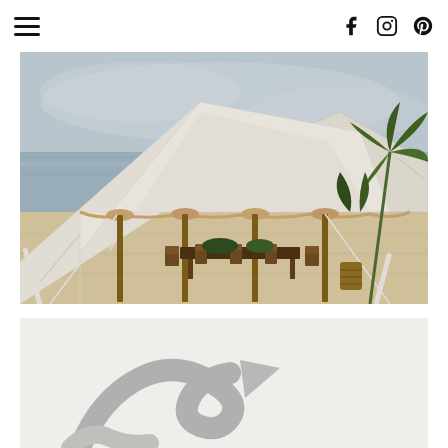Navigation menu and social icons (Facebook, Instagram, Pinterest)
[Figure (photo): Beach wedding tent setup with white sailcloth tent supported by wooden poles on sandy beach, with dining table and chairs underneath, ocean and cloudy sky in background, tropical palm fronds on right side]
[Figure (photo): Partial view of a logo or decorative graphic on light background, showing curved gray/silver swooping shape]